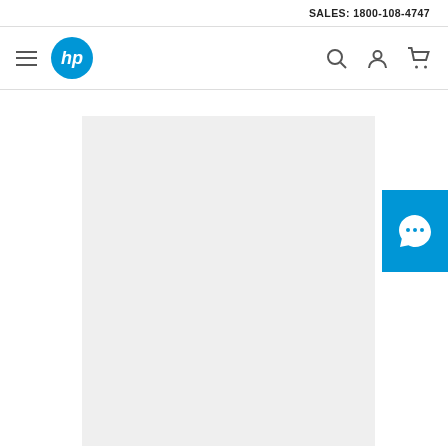SALES: 1800-108-4747
[Figure (logo): HP website navigation bar with hamburger menu, HP blue circle logo, search icon, user account icon, and shopping cart icon]
[Figure (photo): Light grey product image placeholder box]
[Figure (other): Blue chat/messaging button with speech bubble icon containing three dots]